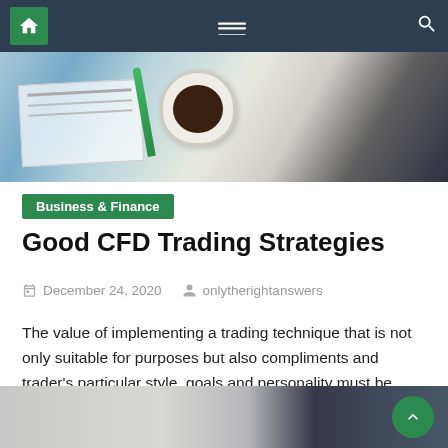Navigation bar with home, menu, and search icons
[Figure (photo): Close-up of a desk with financial charts/papers, a green pen, and a white coffee cup with black coffee, suggesting a trading/finance workspace context.]
Business & Finance
Good CFD Trading Strategies
December 24, 2020   onlytherightanswers
The value of implementing a trading technique that is not only suitable for purposes but also compliments and trader's particular style, goals and personality must be thoroughly acknowledged. It is a crucial factor that must be identified before any genuinely practical effort to manage the markets effectively takes place. The conditions for admission, trading time-frames [...]
[Figure (photo): Bottom strip image showing a person at a desk and a monitor/screen, partially cropped.]